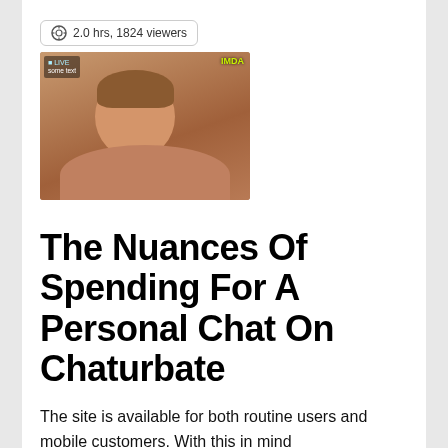2.0 hrs, 1824 viewers
[Figure (photo): Screenshot thumbnail of a shirtless man in a video stream, with overlay text in top-left and IMDA watermark in top-right]
The Nuances Of Spending For A Personal Chat On Chaturbate
The site is available for both routine users and mobile customers. With this in mind